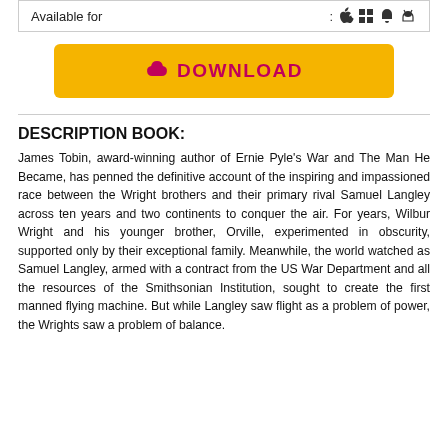Available for : [Apple] [Windows] [Android] [Android]
[Figure (other): Download button with cloud/download icon in yellow/gold background with pink-red text reading DOWNLOAD]
DESCRIPTION BOOK:
James Tobin, award-winning author of Ernie Pyle's War and The Man He Became, has penned the definitive account of the inspiring and impassioned race between the Wright brothers and their primary rival Samuel Langley across ten years and two continents to conquer the air. For years, Wilbur Wright and his younger brother, Orville, experimented in obscurity, supported only by their exceptional family. Meanwhile, the world watched as Samuel Langley, armed with a contract from the US War Department and all the resources of the Smithsonian Institution, sought to create the first manned flying machine. But while Langley saw flight as a problem of power, the Wrights saw a problem of balance.